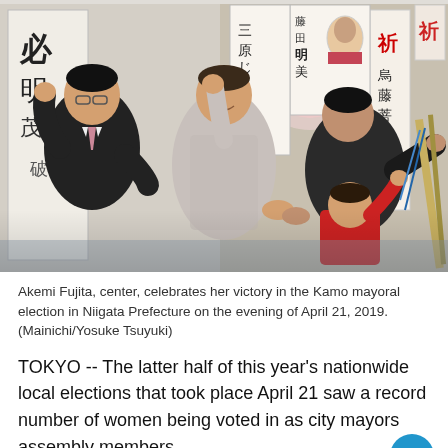[Figure (photo): Akemi Fujita, center, raises her arm in celebration of her election victory, surrounded by supporters in an election headquarters setting. Japanese calligraphy posters and election campaign materials are visible in the background. A young girl in red is visible at right. Several adults stand around her cheering.]
Akemi Fujita, center, celebrates her victory in the Kamo mayoral election in Niigata Prefecture on the evening of April 21, 2019. (Mainichi/Yosuke Tsuyuki)
TOKYO -- The latter half of this year's nationwide local elections that took place April 21 saw a record number of women being voted in as city mayors assembly members.